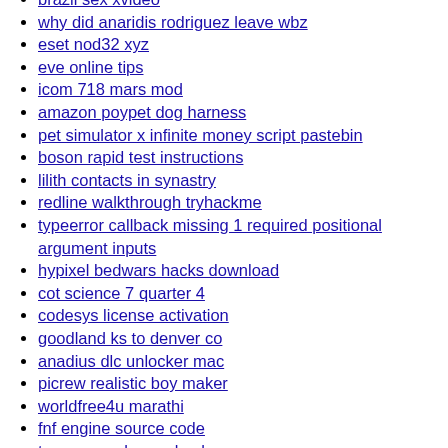brazil sex xvideo
why did anaridis rodriguez leave wbz
eset nod32 xyz
eve online tips
icom 718 mars mod
amazon poypet dog harness
pet simulator x infinite money script pastebin
boson rapid test instructions
lilith contacts in synastry
redline walkthrough tryhackme
typeerror callback missing 1 required positional argument inputs
hypixel bedwars hacks download
cot science 7 quarter 4
codesys license activation
goodland ks to denver co
anadius dlc unlocker mac
picrew realistic boy maker
worldfree4u marathi
fnf engine source code
tennessee dmr code plugs
mewatch channel 5
autocad 3d commands list pdf
roblox accounts with voice chat
solar panel wiring diagram 12v